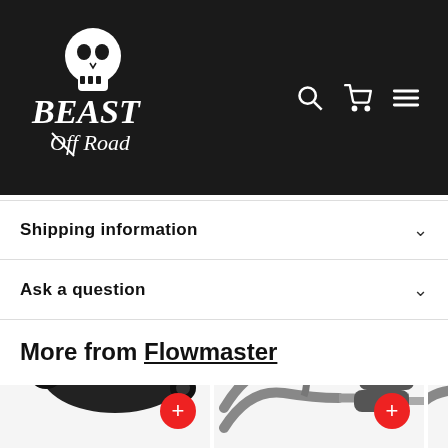Beast Off Road header with logo, search, cart, and menu icons
Shipping information
Ask a question
More from Flowmaster
[Figure (photo): Flowmaster muffler product image - black oval muffler with dual outlets]
[Figure (photo): Flowmaster exhaust system product image - cat-back exhaust system with pipes and mufflers]
[Figure (photo): Flowmaster exhaust system product image - partial view, cropped]